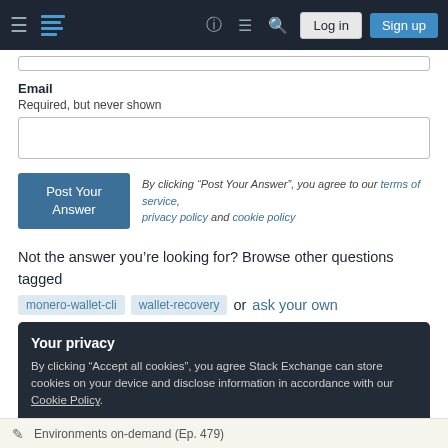Stack Exchange navigation bar with Log in and Sign up buttons
Email
Required, but never shown
By clicking “Post Your Answer”, you agree to our terms of service, privacy policy and cookie policy
Not the answer you’re looking for? Browse other questions tagged monero-wallet-cli wallet-recovery or ask your own
Your privacy
By clicking “Accept all cookies”, you agree Stack Exchange can store cookies on your device and disclose information in accordance with our Cookie Policy.
Environments on-demand (Ep. 479)